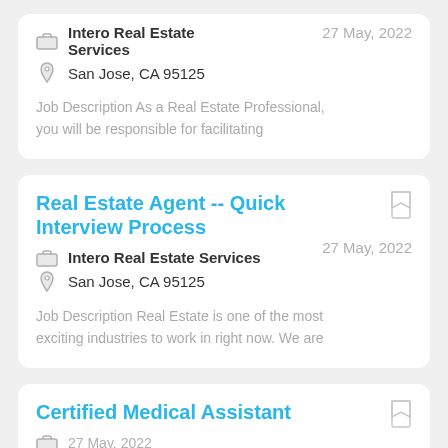Intero Real Estate Services | San Jose, CA 95125 | 27 May, 2022 | Job Description As a Real Estate Professional, you will be responsible for facilitating
Real Estate Agent -- Quick Interview Process
27 May, 2022 | Intero Real Estate Services | San Jose, CA 95125 | Job Description Real Estate is one of the most exciting industries to work in right now. We are
Certified Medical Assistant
27 May, 2022